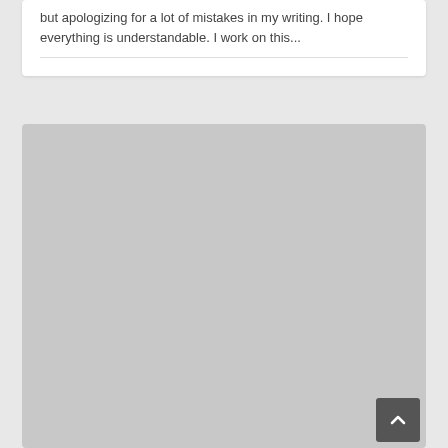but apologizing for a lot of mistakes in my writing. I hope everything is understandable. I work on this...
[Figure (other): Large light gray placeholder block filling the lower portion of the page, with a dark gray 'back to top' button with an upward chevron arrow in the bottom-right corner.]